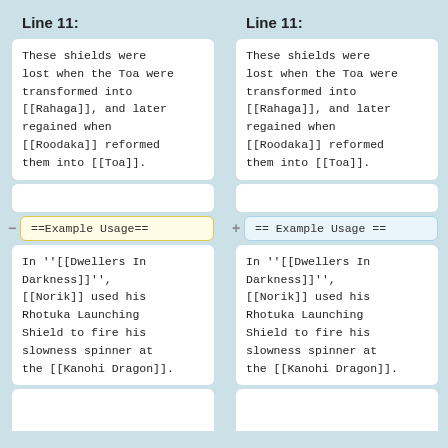Line 11:
Line 11:
These shields were lost when the Toa were transformed into [[Rahaga]], and later regained when [[Roodaka]] reformed them into [[Toa]].
These shields were lost when the Toa were transformed into [[Rahaga]], and later regained when [[Roodaka]] reformed them into [[Toa]].
==Example Usage==
== Example Usage ==
In ''[[Dwellers In Darkness]]'', [[Norik]] used his Rhotuka Launching Shield to fire his slowness spinner at the [[Kanohi Dragon]].
In ''[[Dwellers In Darkness]]'', [[Norik]] used his Rhotuka Launching Shield to fire his slowness spinner at the [[Kanohi Dragon]].